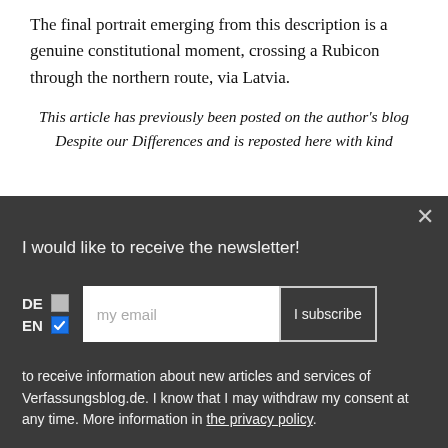The final portrait emerging from this description is a genuine constitutional moment, crossing a Rubicon through the northern route, via Latvia.
This article has previously been posted on the author's blog Despite our Differences and is reposted here with kind
[Figure (screenshot): Newsletter subscription overlay with dark background. Contains close button (×), headline 'I would like to receive the newsletter!', DE/EN language checkboxes (DE unchecked, EN checked), email input field with placeholder 'my email', 'I subscribe' button, and privacy text mentioning Verfassungsblog.de and linking to the privacy policy.]